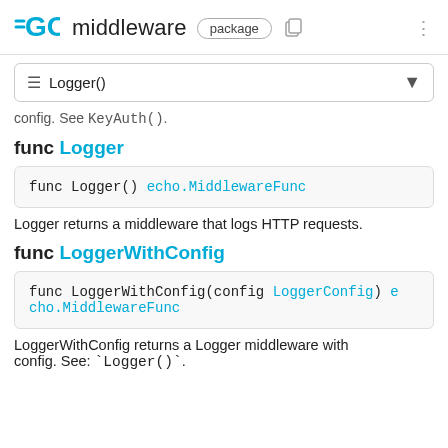GO middleware package
≡ Logger()
config. See `KeyAuth()`.
func Logger
func Logger() echo.MiddlewareFunc
Logger returns a middleware that logs HTTP requests.
func LoggerWithConfig
func LoggerWithConfig(config LoggerConfig) echo.MiddlewareFunc
LoggerWithConfig returns a Logger middleware with config. See: `Logger()`.